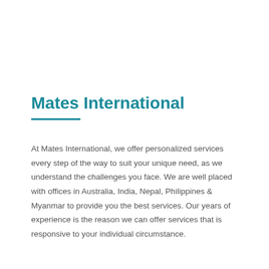Mates International
At Mates International, we offer personalized services every step of the way to suit your unique need, as we understand the challenges you face. We are well placed with offices in Australia, India, Nepal, Philippines & Myanmar to provide you the best services. Our years of experience is the reason we can offer services that is responsive to your individual circumstance.